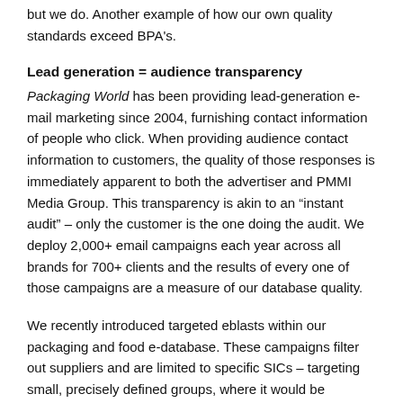but we do. Another example of how our own quality standards exceed BPA's.
Lead generation = audience transparency
Packaging World has been providing lead-generation e-mail marketing since 2004, furnishing contact information of people who click. When providing audience contact information to customers, the quality of those responses is immediately apparent to both the advertiser and PMMI Media Group. This transparency is akin to an “instant audit” – only the customer is the one doing the audit. We deploy 2,000+ email campaigns each year across all brands for 700+ clients and the results of every one of those campaigns are a measure of our database quality.
We recently introduced targeted eblasts within our packaging and food e-database. These campaigns filter out suppliers and are limited to specific SICs – targeting small, precisely defined groups, where it would be immediately apparent if the resulting leads were from outside of the requested SIC.